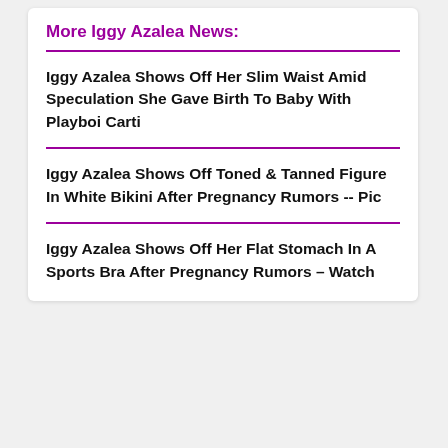More Iggy Azalea News:
Iggy Azalea Shows Off Her Slim Waist Amid Speculation She Gave Birth To Baby With Playboi Carti
Iggy Azalea Shows Off Toned & Tanned Figure In White Bikini After Pregnancy Rumors -- Pic
Iggy Azalea Shows Off Her Flat Stomach In A Sports Bra After Pregnancy Rumors – Watch